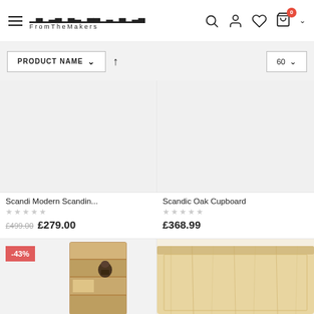FromTheMakers – navigation header with search, account, wishlist, cart icons
PRODUCT NAME ↑   60
Scandi Modern Scandin...
★★★★★ (empty rating)
£499.00  £279.00
Scandic Oak Cupboard
★★★★★ (empty rating)
£368.99
[Figure (photo): Partial view of a wooden cabinet/cupboard with a -43% discount badge, showing wood shelving unit with a decorative item inside, warm lighting]
[Figure (photo): Partial view of a light oak wooden furniture piece (bed headboard or shelf), cropped at the bottom of the page]